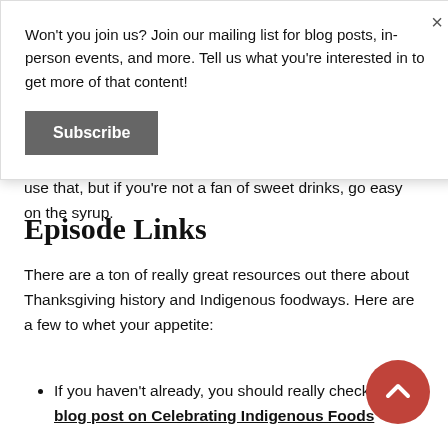Won't you join us? Join our mailing list for blog posts, in-person events, and more. Tell us what you're interested in to get more of that content!
Subscribe
use that, but if you're not a fan of sweet drinks, go easy on the syrup.
Episode Links
There are a ton of really great resources out there about Thanksgiving history and Indigenous foodways. Here are a few to whet your appetite:
If you haven't already, you should really check out my blog post on Celebrating Indigenous Foods